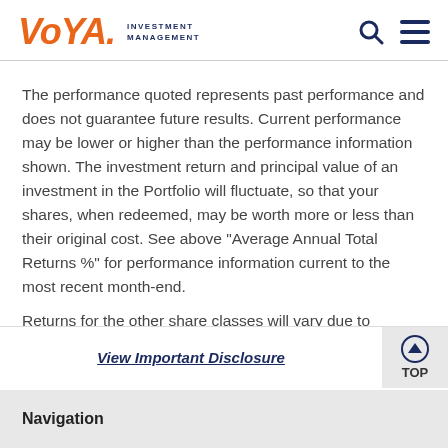Voya Investment Management
The performance quoted represents past performance and does not guarantee future results. Current performance may be lower or higher than the performance information shown. The investment return and principal value of an investment in the Portfolio will fluctuate, so that your shares, when redeemed, may be worth more or less than their original cost. See above "Average Annual Total Returns %" for performance information current to the most recent month-end.
Returns for the other share classes will vary due to different
View Important Disclosure
Navigation